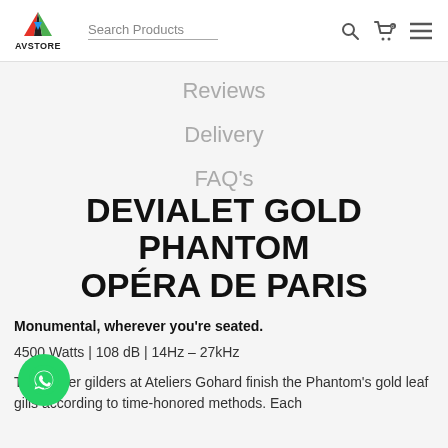AV STORE — Search Products
Reviews
Delivery
FAQ's
DEVIALET GOLD PHANTOM OPÉRA DE PARIS
Monumental, wherever you're seated.
4500 Watts | 108 dB | 14Hz – 27kHz
The master gilders at Ateliers Gohard finish the Phantom's gold leaf gills according to time-honored methods. Each